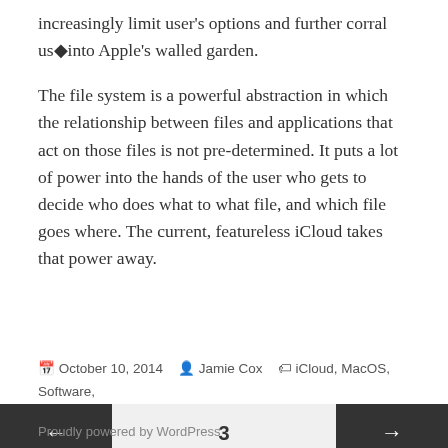increasingly limit user's options and further corral us◆into Apple's walled garden.
The file system is a powerful abstraction in which the relationship between files and applications that act on those files is not pre-determined. It puts a lot of power into the hands of the user who gets to decide who does what to what file, and which file goes where. The current, featureless iCloud takes that power away.
October 10, 2014   Jamie Cox   iCloud, MacOS, Software, Tips and Tricks   Leave a comment
3
Proudly powered by WordPress